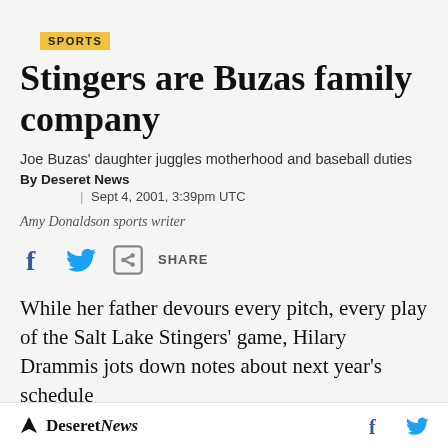SPORTS
Stingers are Buzas family company
Joe Buzas' daughter juggles motherhood and baseball duties
By Deseret News
| Sept 4, 2001, 3:39pm UTC
Amy Donaldson sports writer
[Figure (infographic): Social sharing icons: Facebook, Twitter, and a share button with label SHARE]
While her father devours every pitch, every play of the Salt Lake Stingers' game, Hilary Drammis jots down notes about next year's schedule
Deseret News  f  (Twitter bird)